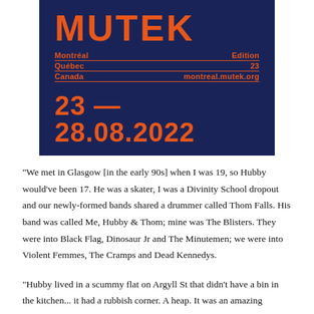[Figure (illustration): MUTEK festival poster with dark navy blue background. Shows 'MUTEK' logo in large orange bold letters. Below: 'Montréal' left and 'Edition' right; 'Québec' left and '23' right; 'Canada' left and 'montreal.mutek.org' right. Large orange text '23 — 28.08.2022' at the bottom.]
"We met in Glasgow [in the early 90s] when I was 19, so Hubby would've been 17. He was a skater, I was a Divinity School dropout and our newly-formed bands shared a drummer called Thom Falls. His band was called Me, Hubby & Thom; mine was The Blisters. They were into Black Flag, Dinosaur Jr and The Minutemen; we were into Violent Femmes, The Cramps and Dead Kennedys.
"Hubby lived in a scummy flat on Argyll St that didn't have a bin in the kitchen... it had a rubbish corner. A heap. It was an amazing...